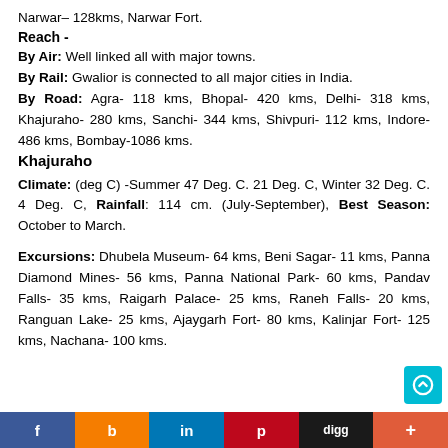Narwar– 128kms, Narwar Fort.
Reach -
By Air: Well linked all with major towns.
By Rail: Gwalior is connected to all major cities in India.
By Road: Agra- 118 kms, Bhopal- 420 kms, Delhi- 318 kms, Khajuraho- 280 kms, Sanchi- 344 kms, Shivpuri- 112 kms, Indore- 486 kms, Bombay-1086 kms.
Khajuraho
Climate: (deg C) -Summer 47 Deg. C. 21 Deg. C, Winter 32 Deg. C. 4 Deg. C, Rainfall: 114 cm. (July-September), Best Season: October to March.
Excursions: Dhubela Museum- 64 kms, Beni Sagar- 11 kms, Panna Diamond Mines- 56 kms, Panna National Park- 60 kms, Pandav Falls- 35 kms, Raigarh Palace- 25 kms, Raneh Falls- 20 kms, Ranguan Lake- 25 kms, Ajaygarh Fort- 80 kms, Kalinjar Fort- 125 kms, Nachana- 100 kms.
f | b | in | p | digg | +